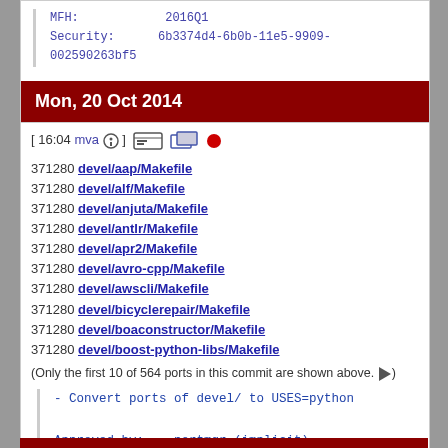MFH: 2016Q1
Security: 6b3374d4-6b0b-11e5-9909-002590263bf5
Mon, 20 Oct 2014
[ 16:04 mva ] [icons]
371280 devel/aap/Makefile
371280 devel/alf/Makefile
371280 devel/anjuta/Makefile
371280 devel/antlr/Makefile
371280 devel/apr2/Makefile
371280 devel/avro-cpp/Makefile
371280 devel/awscli/Makefile
371280 devel/bicyclerepair/Makefile
371280 devel/boaconstructor/Makefile
371280 devel/boost-python-libs/Makefile
(Only the first 10 of 564 ports in this commit are shown above. ▶)
- Convert ports of devel/ to USES=python

Approved by:    portmgr (implicit)